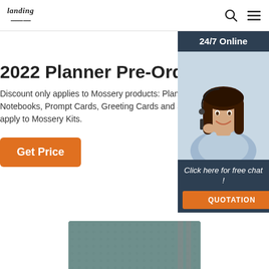landing [logo] | search icon | menu icon
2022 Planner Pre-Order
Discount only applies to Mossery products: Planners, Notebooks, Prompt Cards, Greeting Cards and Stickers. Does not apply to Mossery Kits.
Get Price
[Figure (illustration): Advertisement banner with a woman wearing a headset smiling, dark blue background. Shows '24/7 Online' text at top, 'Click here for free chat!' text and an orange QUOTATION button at the bottom.]
[Figure (photo): Bottom portion of a teal/grey planner with elastic band closure, partially visible at the bottom of the page.]